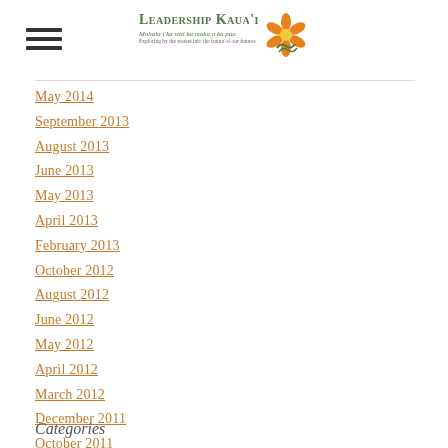Leadership Kaua'i - Mohala i ka wai ka maka o ka pua
May 2014
September 2013
August 2013
June 2013
May 2013
April 2013
February 2013
October 2012
August 2012
June 2012
May 2012
April 2012
March 2012
December 2011
October 2011
September 2011
August 2011
Categories